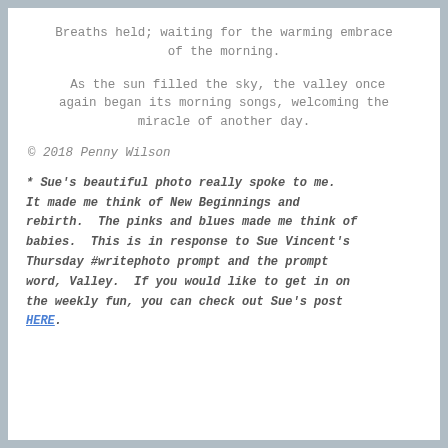Breaths held; waiting for the warming embrace of the morning.
As the sun filled the sky, the valley once again began its morning songs, welcoming the miracle of another day.
© 2018 Penny Wilson
* Sue's beautiful photo really spoke to me. It made me think of New Beginnings and rebirth. The pinks and blues made me think of babies. This is in response to Sue Vincent's Thursday #writephoto prompt and the prompt word, Valley. If you would like to get in on the weekly fun, you can check out Sue's post HERE.